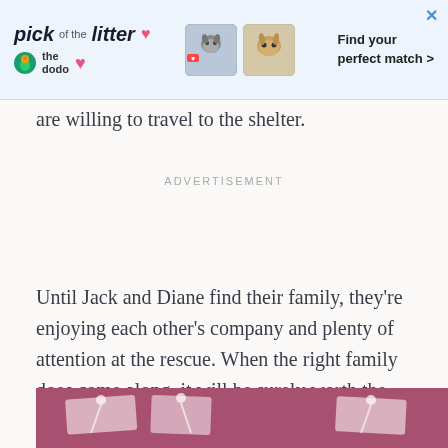[Figure (other): Advertisement banner for 'pick of the litter' by The Dodo with pet photos and text 'Find your perfect match >']
are willing to travel to the shelter.
ADVERTISEMENT
Until Jack and Diane find their family, they’re enjoying each other’s company and plenty of attention at the rescue. When the right family does come along, it will be surely worth the wait — just like Jack and Diane’s magical wedding day.
[Figure (photo): Bottom portion of a photo showing what appears to be a decorative fabric or wedding-related setup with pink/maroon colors and white ribbons]